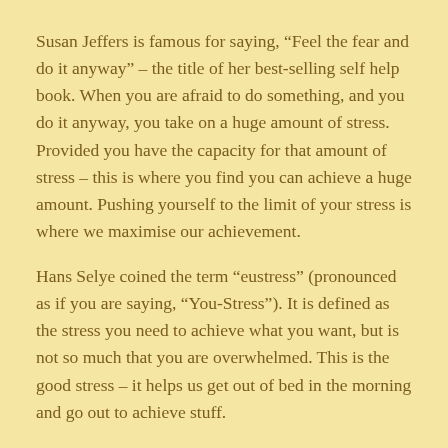Susan Jeffers is famous for saying, “Feel the fear and do it anyway” – the title of her best-selling self help book. When you are afraid to do something, and you do it anyway, you take on a huge amount of stress. Provided you have the capacity for that amount of stress – this is where you find you can achieve a huge amount. Pushing yourself to the limit of your stress is where we maximise our achievement.
Hans Selye coined the term “eustress” (pronounced as if you are saying, “You-Stress”). It is defined as the stress you need to achieve what you want, but is not so much that you are overwhelmed. This is the good stress – it helps us get out of bed in the morning and go out to achieve stuff.
So it is now widely recognised that “some” stress is good. But having too much stress pushes us into anxiety and panic. If you have a very low amount of stress in your life –